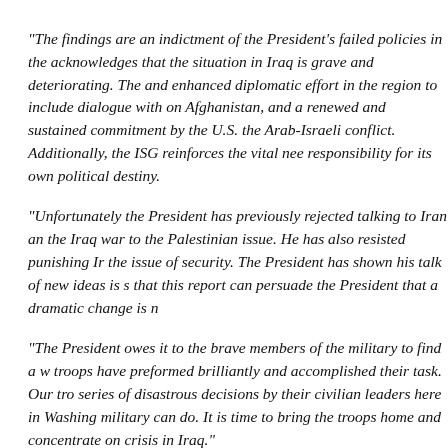“The findings are an indictment of the President’s failed policies in the acknowledges that the situation in Iraq is grave and deteriorating. The and enhanced diplomatic effort in the region to include dialogue with on Afghanistan, and a renewed and sustained commitment by the U.S. the Arab-Israeli conflict. Additionally, the ISG reinforces the vital nee responsibility for its own political destiny.
“Unfortunately the President has previously rejected talking to Iran an the Iraq war to the Palestinian issue. He has also resisted punishing Ir the issue of security. The President has shown his talk of new ideas is s that this report can persuade the President that a dramatic change is n
“The President owes it to the brave members of the military to find a w troops have preformed brilliantly and accomplished their task. Our tro series of disastrous decisions by their civilian leaders here in Washing military can do. It is time to bring the troops home and concentrate on crisis in Iraq.”
Senator Chuck Grassley today issued the following comment after